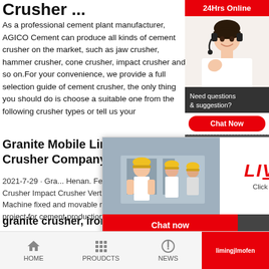Crusher ...
As a professional cement plant manufacturer, AGICO Cement can produce all kinds of cement crusher on the market, such as jaw crusher, hammer crusher, cone crusher, impact crusher and so on.For your convenience, we provide a full selection guide of cement crusher, the only thing you should do is choose a suitable one from the following crusher types or tell us your
Granite Mobile Limestone Crusher Company
2021-7-29 · Gra... Henan. Feb 11 2... crushing and scr... Crusher Impact Crusher Vertical Shaft Impact Crush... Machine fixed and movable rock crushing line but al... project for cement production line
granite crusher, iron ore crusher, lim...
2021-8-3 · Jaw Crusher. Jaw crusher is widely used...
[Figure (screenshot): Live chat popup overlay with workers in hard hats on left, LIVE CHAT text in red italic, 'Click for a Free Consultation' subtitle, Chat now and Chat later buttons]
[Figure (screenshot): Right sidebar: 24Hrs Online header in red, customer service agent with headset, 'Need questions & suggestion?' text, Chat Now button, Enquiry section, limingjlmofen label]
HOME   PROUDCTS   NEWS   limingjlmofen